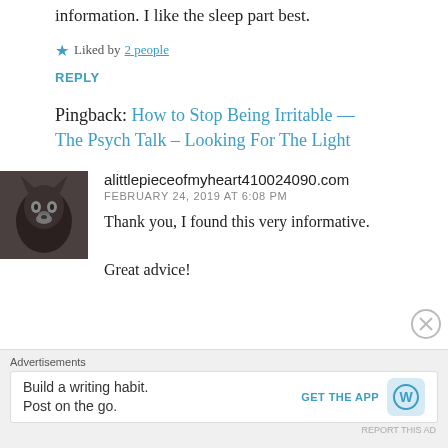information. I like the sleep part best.
Liked by 2 people
REPLY
Pingback: How to Stop Being Irritable — The Psych Talk – Looking For The Light
alittlepieceofmyheart410024090.com
FEBRUARY 24, 2019 AT 6:08 PM
Thank you, I found this very informative.

Great advice!
Advertisements
Build a writing habit. Post on the go.
GET THE APP